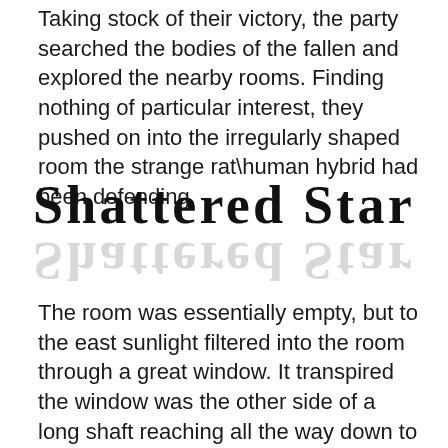Taking stock of their victory, the party searched the bodies of the fallen and explored the nearby rooms. Finding nothing of particular interest, they pushed on into the irregularly shaped room the strange rat\human hybrid had been defending.
SHATTERED STAR
The room was essentially empty, but to the east sunlight filtered into the room through a great window. It transpired the window was the other side of a long shaft reaching all the way down to the chamber in which the party moored